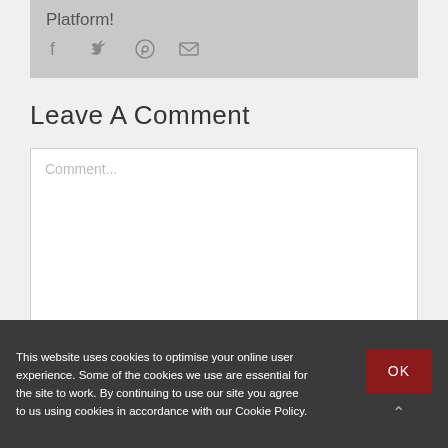Platform!
[Figure (other): Social share icons: Facebook, Twitter, Pinterest, Email]
Leave A Comment
[Figure (screenshot): Comment text input area with placeholder text 'Comment...']
This website uses cookies to optimise your online user experience. Some of the cookies we use are essential for the site to work. By continuing to use our site you agree to us using cookies in accordance with our Cookie Policy.